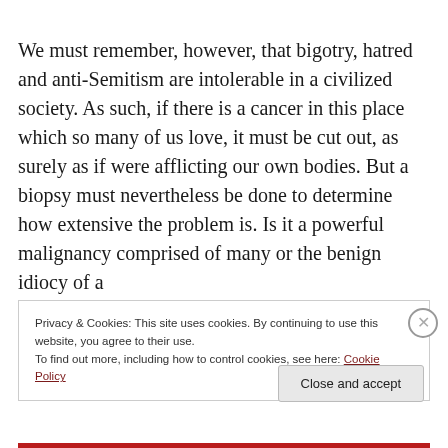We must remember, however, that bigotry, hatred and anti-Semitism are intolerable in a civilized society. As such, if there is a cancer in this place which so many of us love, it must be cut out, as surely as if were afflicting our own bodies. But a biopsy must nevertheless be done to determine how extensive the problem is. Is it a powerful malignancy comprised of many or the benign idiocy of a
Privacy & Cookies: This site uses cookies. By continuing to use this website, you agree to their use.
To find out more, including how to control cookies, see here: Cookie Policy